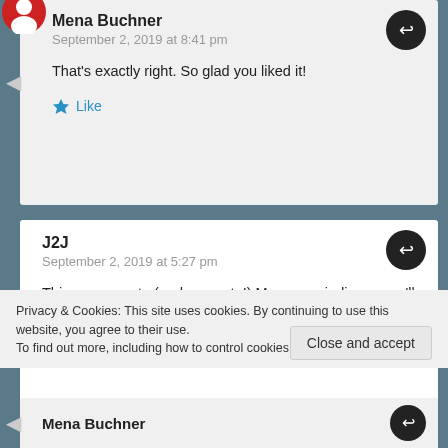Mena Buchner
September 2, 2019 at 8:41 pm
That's exactly right. So glad you liked it!
Like
J2J
September 2, 2019 at 5:27 pm
This was so cute (and accurate!) Mena, reminding us we'll be the ones to keep that history this time. Great story 🙂 - J2J
Privacy & Cookies: This site uses cookies. By continuing to use this website, you agree to their use.
To find out more, including how to control cookies, see here: Cookie Policy
Close and accept
Mena Buchner